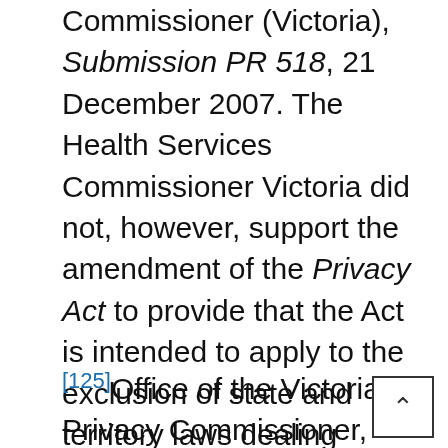Commissioner (Victoria), Submission PR 518, 21 December 2007. The Health Services Commissioner Victoria did not, however, support the amendment of the Privacy Act to provide that the Act is intended to apply to the exclusion of state and territory laws dealing specifically with the handling of personal information: see Rec 3–1. See also Office of the Victorian Privacy Commissioner, Submission PR 493, 19 December 2007.
[125] Office of the Victorian Privacy Commissioner, Submission PR 493, 19 December 2007.